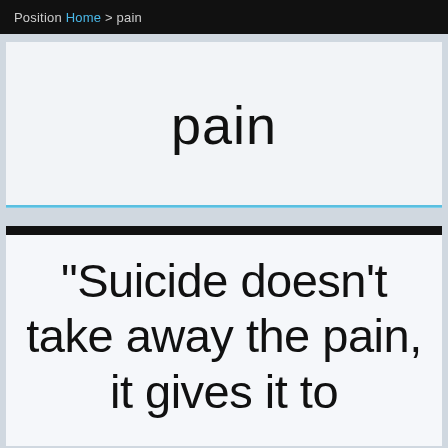Position Home > pain
pain
"Suicide doesn’t take away the pain, it gives it to